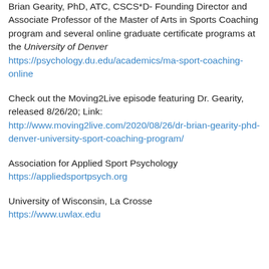Brian Gearity, PhD, ATC, CSCS*D- Founding Director and Associate Professor of the Master of Arts in Sports Coaching program and several online graduate certificate programs at the University of Denver https://psychology.du.edu/academics/ma-sport-coaching-online
Check out the Moving2Live episode featuring Dr. Gearity, released 8/26/20; Link: http://www.moving2live.com/2020/08/26/dr-brian-gearity-phd-denver-university-sport-coaching-program/
Association for Applied Sport Psychology https://appliedsportpsych.org
University of Wisconsin, La Crosse https://www.uwlax.edu